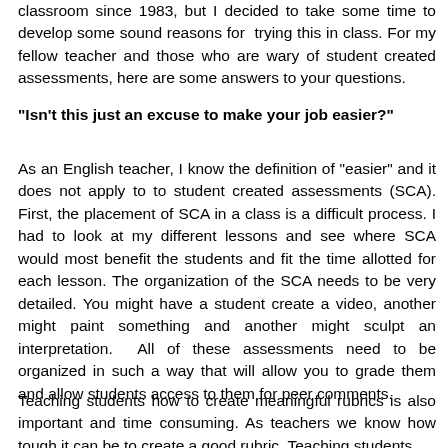classroom since 1983, but I decided to take some time to develop some sound reasons for trying this in class. For my fellow teacher and those who are wary of student created assessments, here are some answers to your questions.
"Isn't this just an excuse to make your job easier?"
As an English teacher, I know the definition of "easier" and it does not apply to to student created assessments (SCA). First, the placement of SCA in a class is a difficult process. I had to look at my different lessons and see where SCA would most benefit the students and fit the time allotted for each lesson. The organization of the SCA needs to be very detailed. You might have a student create a video, another might paint something and another might sculpt an interpretation. All of these assessments need to be organized in such a way that will allow you to grade them and allow students access to them for peer comments.
Teaching students how to create meaningful rubrics is also important and time consuming. As teachers we know how tough it can be to create a good rubric. Teaching students